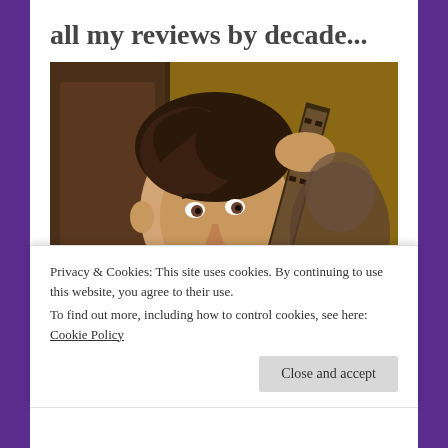all my reviews by decade...
[Figure (photo): A young boy smiling and holding a film strip up to the light, photographed in warm tones]
Privacy & Cookies: This site uses cookies. By continuing to use this website, you agree to their use.
To find out more, including how to control cookies, see here: Cookie Policy
Close and accept